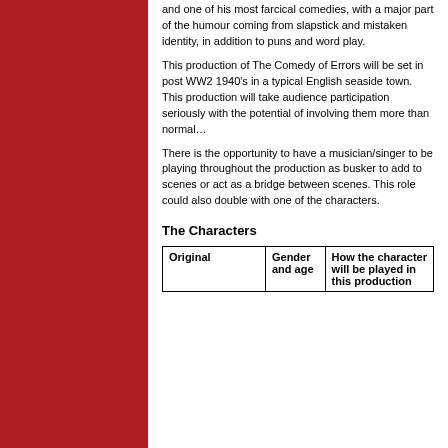and one of his most farcical comedies, with a major part of the humour coming from slapstick and mistaken identity, in addition to puns and word play.
This production of The Comedy of Errors will be set in post WW2 1940's in a typical English seaside town. This production will take audience participation seriously with the potential of involving them more than normal…
There is the opportunity to have a musician/singer to be playing throughout the production as busker to add to scenes or act as a bridge between scenes. This role could also double with one of the characters.
The Characters
| Original | Gender and age | How the character will be played in this production |
| --- | --- | --- |